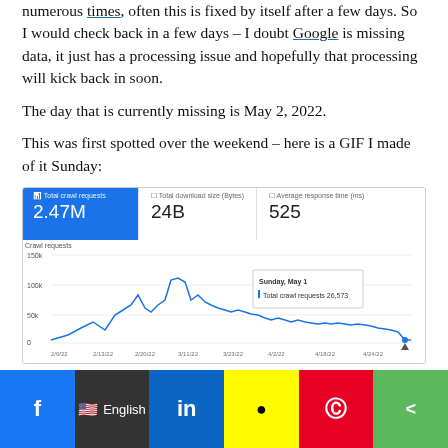numerous times, often this is fixed by itself after a few days. So I would check back in a few days – I doubt Google is missing data, it just has a processing issue and hopefully that processing will kick back in soon.
The day that is currently missing is May 2, 2022.
This was first spotted over the weekend – here is a GIF I made of it Sunday:
[Figure (screenshot): Google Search Console crawl stats screenshot showing Total crawl requests: 2.47M, Total download size (Bytes): 24B, Average response time (ms): 525. A line chart shows crawl requests over time from approximately 2/6/22 to 4/24/22. A tooltip shows Sunday, May 1 with Total crawl requests: 26,573.]
f  English  in  [snapchat]  [pinterest]  [share]